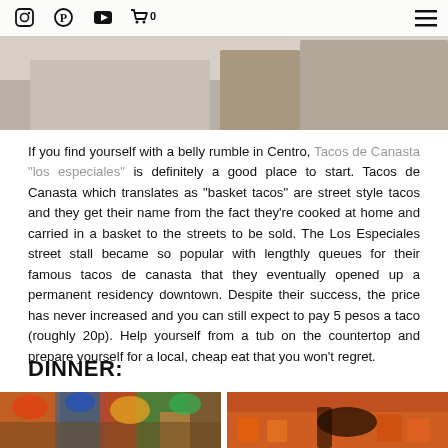[Figure (photo): Header photo of interior space, partially visible, with white translucent overlay bar containing social media icons (Instagram, Pinterest, YouTube, cart with 0) on left and hamburger menu on right]
If you find yourself with a belly rumble in Centro, Tacos de Canasta "los especiales" is definitely a good place to start. Tacos de Canasta which translates as "basket tacos" are street style tacos and they get their name from the fact they're cooked at home and carried in a basket to the streets to be sold. The Los Especiales street stall became so popular with lengthly queues for their famous tacos de canasta that they eventually opened up a permanent residency downtown. Despite their success, the price has never increased and you can still expect to pay 5 pesos a taco (roughly 20p). Help yourself from a tub on the countertop and prepare yourself for a local, cheap eat that you won't regret.
DINNER:
[Figure (photo): Colorful hanging decorations at a restaurant, vibrant blues, reds, greens, oranges]
[Figure (photo): Close-up of food and drinks on a table with orange plastic cups and hands reaching in]